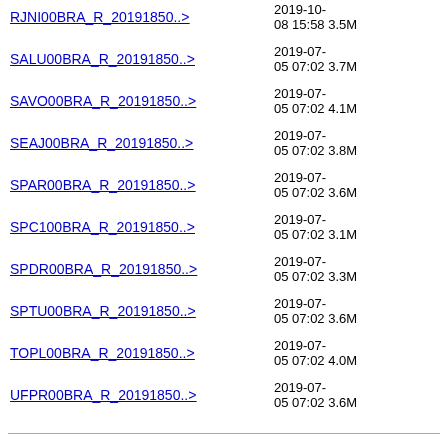RJNI00BRA_R_20191850..> 2019-10-08 15:58 3.5M
SALU00BRA_R_20191850..> 2019-07-05 07:02 3.7M
SAVO00BRA_R_20191850..> 2019-07-05 07:02 4.1M
SEAJ00BRA_R_20191850..> 2019-07-05 07:02 3.8M
SPAR00BRA_R_20191850..> 2019-07-05 07:02 3.6M
SPC100BRA_R_20191850..> 2019-07-05 07:02 3.1M
SPDR00BRA_R_20191850..> 2019-07-05 07:02 3.3M
SPTU00BRA_R_20191850..> 2019-07-05 07:02 3.6M
TOPL00BRA_R_20191850..> 2019-07-05 07:02 4.0M
UFPR00BRA_R_20191850..> 2019-07-05 07:02 3.6M